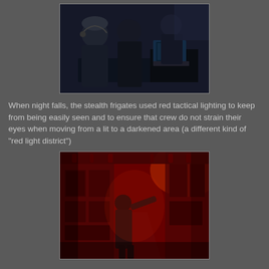[Figure (photo): Military personnel at computer workstations in a darkened operations room, wearing headsets and dark uniforms, with monitors and equipment visible.]
When night falls, the stealth frigates used red tactical lighting to keep from being easily seen and to ensure that crew do not strain their eyes when moving from a lit to a darkened area (a different kind of "red light district")
[Figure (photo): Interior of a ship corridor bathed in intense red tactical lighting, with a crew member in dark uniform pointing at equipment panels along the walls, pipes and machinery visible throughout.]